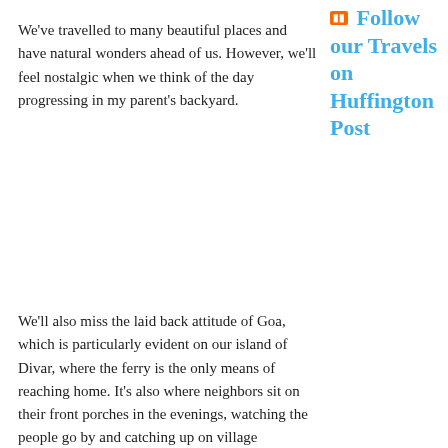We've travelled to many beautiful places and have natural wonders ahead of us. However, we'll feel nostalgic when we think of the day progressing in my parent's backyard.
Follow our Travels on Huffington Post
We'll also miss the laid back attitude of Goa, which is particularly evident on our island of Divar, where the ferry is the only means of reaching home. It's also where neighbors sit on their front porches in the evenings, watching the people go by and catching up on village